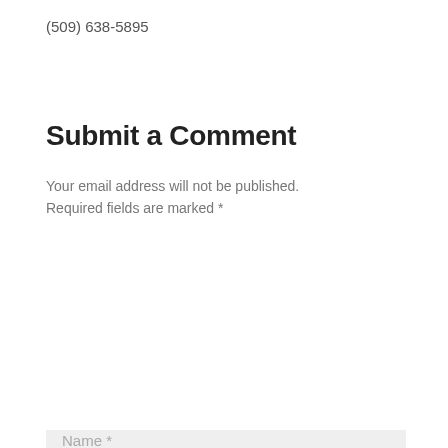(509) 638-5895
Submit a Comment
Your email address will not be published. Required fields are marked *
[Figure (other): Comment textarea input field with placeholder text 'Comment *' and a resize handle in the bottom-right corner, light gray background]
[Figure (other): Name input field with placeholder text 'Name *', light gray background, partially visible at bottom of page]